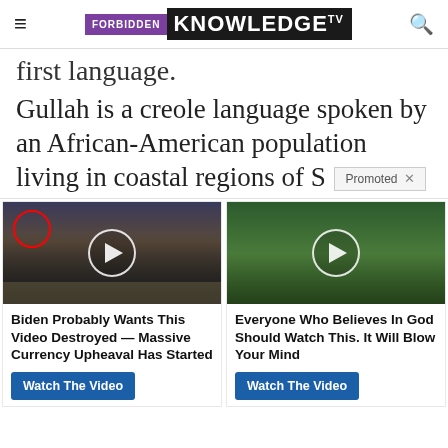FORBIDDEN KNOWLEDGE TV
first language.
Gullah is a creole language spoken by an African-American population living in coastal regions of S...
[Figure (screenshot): Promoted ad widget with two video ad cards: 'Biden Probably Wants This Video Destroyed — Massive Currency Upheaval Has Started' and 'Everyone Who Believes In God Should Watch This. It Will Blow Your Mind']